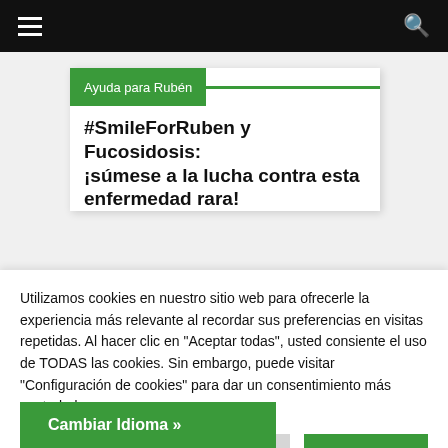≡  🔍
Ayuda para Rubén
#SmileForRuben y Fucosidosis: ¡súmese a la lucha contra esta enfermedad rara!
Utilizamos cookies en nuestro sitio web para ofrecerle la experiencia más relevante al recordar sus preferencias en visitas repetidas. Al hacer clic en "Aceptar todas", usted consiente el uso de TODAS las cookies. Sin embargo, puede visitar "Configuración de cookies" para dar un consentimiento más controlado.
Configuración de cookies
Aceptar todas
Cambiar Idioma »